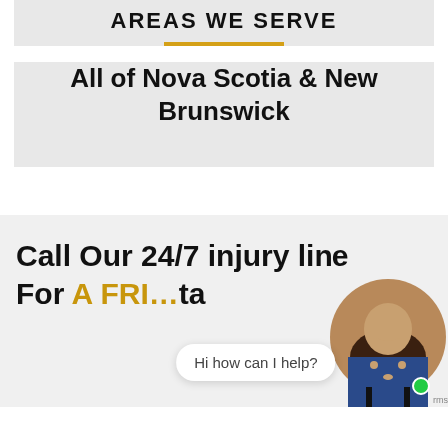AREAS WE SERVE
All of Nova Scotia & New Brunswick
Call Our 24/7 injury line For A FREE Consultation
Hi how can I help?